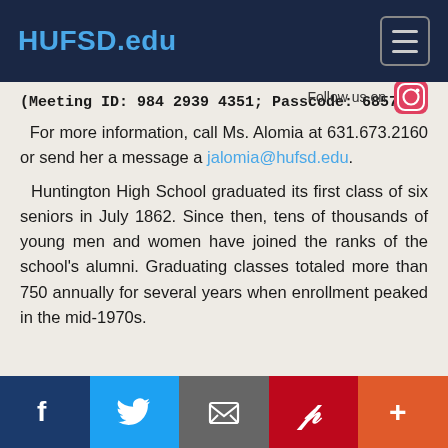HUFSD.edu
(Meeting ID: 984 2939 4351; Passcode: 685730)
Follow us on
For more information, call Ms. Alomia at 631.673.2160 or send her a message a jalomia@hufsd.edu.
Huntington High School graduated its first class of six seniors in July 1862. Since then, tens of thousands of young men and women have joined the ranks of the school's alumni. Graduating classes totaled more than 750 annually for several years when enrollment peaked in the mid-1970s.
Facebook | Twitter | Email | Pinterest | More